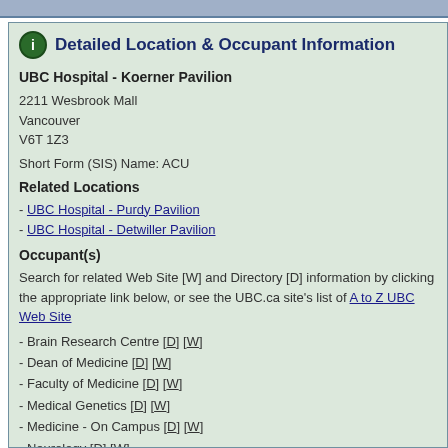Detailed Location & Occupant Information
UBC Hospital - Koerner Pavilion
2211 Wesbrook Mall
Vancouver
V6T 1Z3
Short Form (SIS) Name: ACU
Related Locations
- UBC Hospital - Purdy Pavilion
- UBC Hospital - Detwiller Pavilion
Occupant(s)
Search for related Web Site [W] and Directory [D] information by clicking the appropriate link below, or see the UBC.ca site's list of A to Z UBC Web Site
- Brain Research Centre [D] [W]
- Dean of Medicine [D] [W]
- Faculty of Medicine [D] [W]
- Medical Genetics [D] [W]
- Medicine - On Campus [D] [W]
- Neurology [D] [W]
- Occupational Science and Occupational Therapy [D] [W]
- Pathology and Laboratory Medicine - On Campus [D] [W]
- Physical Therapy [D] [W]
- Psychiatry - On Campus [D] [W]